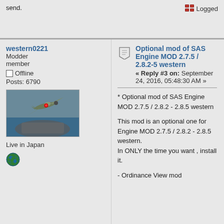send.
Logged
western0221
Modder
member
Offline
Posts: 6790
[Figure (photo): Photo of a WWII Japanese Zero fighter aircraft on a carrier deck, viewed from above-rear angle, green livery with red rising sun markings]
Live in Japan
[Figure (illustration): Globe/earth icon in green and blue]
Optional mod of SAS Engine MOD 2.7.5 / 2.8.2-5 western
« Reply #3 on: September 24, 2016, 05:48:30 AM »
* Optional mod of SAS Engine MOD 2.7.5 / 2.8.2 - 2.8.5 western

This mod is an optional one for Engine MOD 2.7.5 / 2.8.2 - 2.8.5 western.
In ONLY the time you want , install it.

- Ordinance View mod